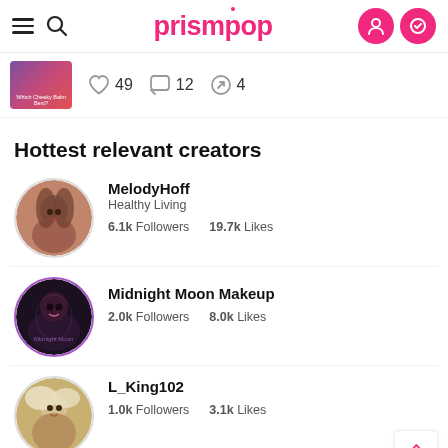prismpop
[Figure (screenshot): Post thumbnail with like count 49, comment count 12, share count 4]
Hottest relevant creators
MelodyHoff
Healthy Living
6.1k Followers   19.7k Likes
Midnight Moon Makeup
2.0k Followers   8.0k Likes
L_King102
1.0k Followers   3.1k Likes